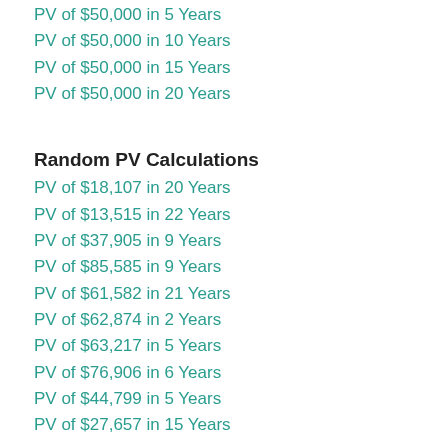PV of $50,000 in 5 Years
PV of $50,000 in 10 Years
PV of $50,000 in 15 Years
PV of $50,000 in 20 Years
Random PV Calculations
PV of $18,107 in 20 Years
PV of $13,515 in 22 Years
PV of $37,905 in 9 Years
PV of $85,585 in 9 Years
PV of $61,582 in 21 Years
PV of $62,874 in 2 Years
PV of $63,217 in 5 Years
PV of $76,906 in 6 Years
PV of $44,799 in 5 Years
PV of $27,657 in 15 Years